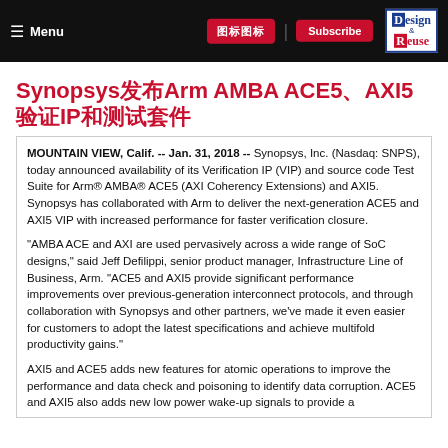Menu | [buttons] | Design & Reuse
Synopsys发布Arm AMBA ACE5、AXI5验证IP和测试套件
MOUNTAIN VIEW, Calif. -- Jan. 31, 2018 -- Synopsys, Inc. (Nasdaq: SNPS), today announced availability of its Verification IP (VIP) and source code Test Suite for Arm® AMBA® ACE5 (AXI Coherency Extensions) and AXI5. Synopsys has collaborated with Arm to deliver the next-generation ACE5 and AXI5 VIP with increased performance for faster verification closure.
"AMBA ACE and AXI are used pervasively across a wide range of SoC designs," said Jeff Defilippi, senior product manager, Infrastructure Line of Business, Arm. "ACE5 and AXI5 provide significant performance improvements over previous-generation interconnect protocols, and through collaboration with Synopsys and other partners, we've made it even easier for customers to adopt the latest specifications and achieve multifold productivity gains."
AXI5 and ACE5 adds new features for atomic operations to improve the performance and data check and poisoning to identify data corruption. ACE5 and AXI5 also adds new low power wake-up signals to provide a